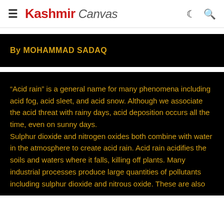Kashmir Canvas
By MOHAMMAD SADAQ
“Acid rain” is a general name for many phenomena including acid fog, acid sleet, and acid snow. Although we associate the acid threat with rainy days, acid deposition occurs all the time, even on sunny days. Sulphur dioxide and nitrogen oxides both combine with water in the atmosphere to create acid rain. Acid rain acidifies the soils and waters where it falls, killing off plants. Many industrial processes produce large quantities of pollutants including sulphur dioxide and nitrous oxide. These are also